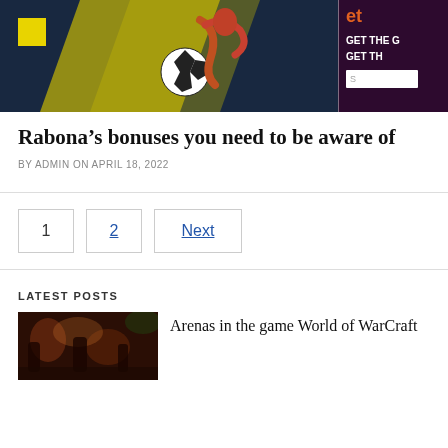[Figure (illustration): Banner image showing a soccer player kicking a ball against a dark blue and yellow background, with a dark purple panel on the right showing text 'GET THE G / GET TH' and a small input box.]
Rabona’s bonuses you need to be aware of
BY ADMIN ON APRIL 18, 2022
1  2  Next
LATEST POSTS
[Figure (photo): Small thumbnail image of a dark fantasy tavern or dungeon scene from World of Warcraft]
Arenas in the game World of WarCraft